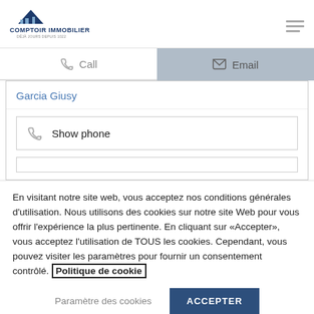[Figure (logo): Comptoir Immobilier logo with blue triangle/building icon and text 'COMPTOIR IMMOBILIER' with subtitle]
Call
Email
Garcia Giusy
Show phone
En visitant notre site web, vous acceptez nos conditions générales d'utilisation. Nous utilisons des cookies sur notre site Web pour vous offrir l'expérience la plus pertinente. En cliquant sur «Accepter», vous acceptez l'utilisation de TOUS les cookies. Cependant, vous pouvez visiter les paramètres pour fournir un consentement contrôlé. Politique de cookie
Paramètre des cookies
ACCEPTER